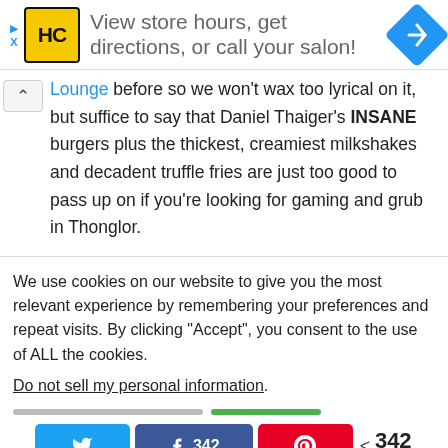[Figure (screenshot): Advertisement banner with HC logo (yellow square with black HC letters), text 'View store hours, get directions, or call your salon!', and a blue diamond navigation icon on the right. Small blue arrow and X on the left edge.]
Lounge before so we won't wax too lyrical on it, but suffice to say that Daniel Thaiger's INSANE burgers plus the thickest, creamiest milkshakes and decadent truffle fries are just too good to pass up on if you're looking for gaming and grub in Thonglor.
We use cookies on our website to give you the most relevant experience by remembering your preferences and repeat visits. By clicking "Accept", you consent to the use of ALL the cookies.
Do not sell my personal information.
[Figure (screenshot): Social share buttons row: Twitter (blue), Facebook with count 342 (dark blue), Pinterest (red), and share count showing < 342 SHARES]